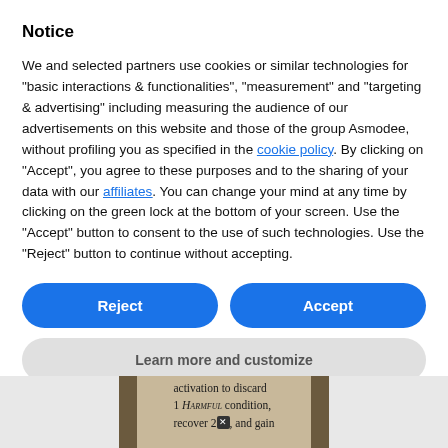Notice
We and selected partners use cookies or similar technologies for "basic interactions & functionalities", "measurement" and "targeting & advertising" including measuring the audience of our advertisements on this website and those of the group Asmodee, without profiling you as specified in the cookie policy. By clicking on "Accept", you agree to these purposes and to the sharing of your data with our affiliates. You can change your mind at any time by clicking on the green lock at the bottom of your screen. Use the "Accept" button to consent to the use of such technologies. Use the "Reject" button to continue without accepting.
[Figure (screenshot): Two buttons side by side: 'Reject' (blue, pill-shaped) and 'Accept' (blue, pill-shaped)]
[Figure (screenshot): Button: 'Learn more and customize' (gray, pill-shaped)]
[Figure (other): Partial card image showing text: 'activation to discard 1 HARMFUL condition, recover 2[dmg], and gain']